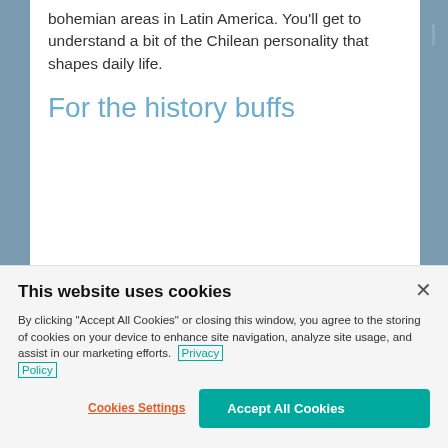bohemian areas in Latin America. You'll get to understand a bit of the Chilean personality that shapes daily life.
For the history buffs
This website uses cookies
By clicking “Accept All Cookies” or closing this window, you agree to the storing of cookies on your device to enhance site navigation, analyze site usage, and assist in our marketing efforts. Privacy Policy
Cookies Settings
Accept All Cookies